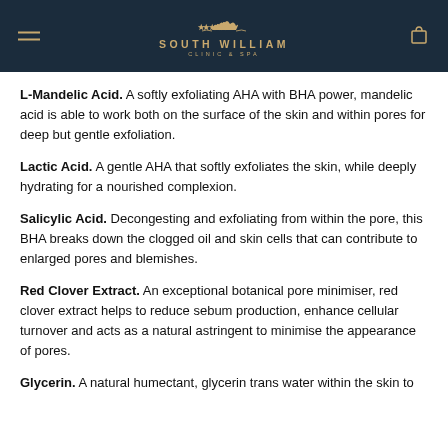South William Clinic & Spa
L-Mandelic Acid. A softly exfoliating AHA with BHA power, mandelic acid is able to work both on the surface of the skin and within pores for deep but gentle exfoliation.
Lactic Acid. A gentle AHA that softly exfoliates the skin, while deeply hydrating for a nourished complexion.
Salicylic Acid. Decongesting and exfoliating from within the pore, this BHA breaks down the clogged oil and skin cells that can contribute to enlarged pores and blemishes.
Red Clover Extract. An exceptional botanical pore minimiser, red clover extract helps to reduce sebum production, enhance cellular turnover and acts as a natural astringent to minimise the appearance of pores.
Glycerin. A natural humectant, glycerin trans water within the skin to